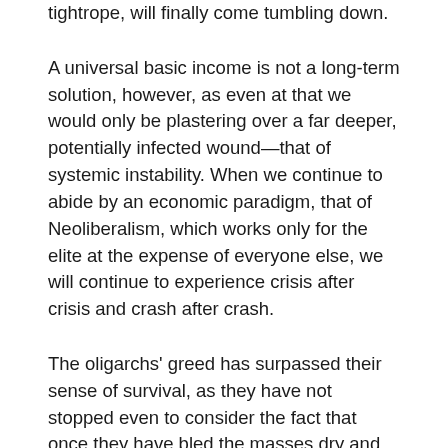tightrope, will finally come tumbling down.
A universal basic income is not a long-term solution, however, as even at that we would only be plastering over a far deeper, potentially infected wound—that of systemic instability. When we continue to abide by an economic paradigm, that of Neoliberalism, which works only for the elite at the expense of everyone else, we will continue to experience crisis after crisis and crash after crash.
The oligarchs' greed has surpassed their sense of survival, as they have not stopped even to consider the fact that once they have bled the masses dry and